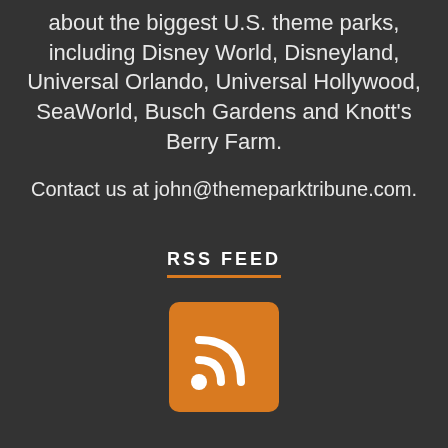about the biggest U.S. theme parks, including Disney World, Disneyland, Universal Orlando, Universal Hollywood, SeaWorld, Busch Gardens and Knott's Berry Farm.
Contact us at john@themeparktribune.com.
RSS FEED
[Figure (logo): Orange RSS feed icon with white RSS symbol on orange rounded square background]
SEARCH THE SITE